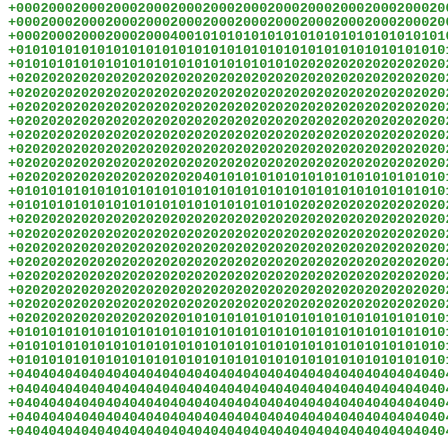Lines of numeric codes in green monospace font, showing sequences of +0002000200020002000200020002000200020002000200020002000, +0101010101010101010101010101010101010101010101010101010, +0202020202020202020202020202020202020202020202020202020, +0404040404040404040404040404040404040404040404040404040 and similar patterns